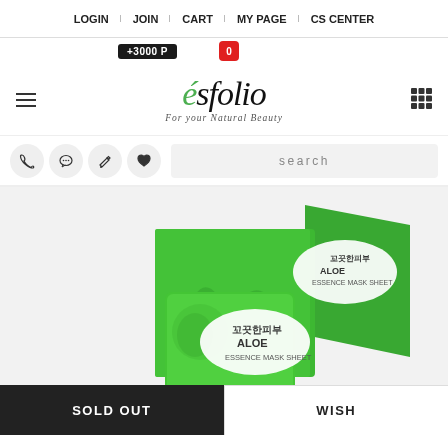LOGIN | JOIN | CART | MY PAGE | CS CENTER
+3000 P
0
ésfolio — For your Natural Beauty
[Figure (screenshot): Navigation icons: phone, chat, edit, heart; search box with placeholder 'search']
[Figure (photo): Esfolio Aloe Essence Mask Sheet product packaging — green box with Korean text and aloe illustration, single packet shown in foreground]
SOLD OUT
WISH